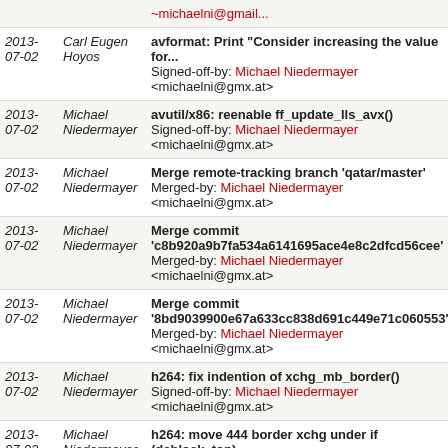| Date | Author | Message |
| --- | --- | --- |
| 2013-07-02 | Carl Eugen Hoyos | avformat: Print "Consider increasing the value for..."
Signed-off-by: Michael Niedermayer <michaelni@gmx.at> |
| 2013-07-02 | Michael Niedermayer | avutil/x86: reenable ff_update_lls_avx()
Signed-off-by: Michael Niedermayer <michaelni@gmx.at> |
| 2013-07-02 | Michael Niedermayer | Merge remote-tracking branch 'qatar/master'
Merged-by: Michael Niedermayer <michaelni@gmx.at> |
| 2013-07-02 | Michael Niedermayer | Merge commit 'c8b920a9b7fa534a6141695ace4e8c2dfcd56cee'
Merged-by: Michael Niedermayer <michaelni@gmx.at> |
| 2013-07-02 | Michael Niedermayer | Merge commit '8bd9039900e67a633cc838d691c449e71c060553'
Merged-by: Michael Niedermayer <michaelni@gmx.at> |
| 2013-07-02 | Michael Niedermayer | h264: fix indention of xchg_mb_border()
Signed-off-by: Michael Niedermayer <michaelni@gmx.at> |
| 2013-07-02 | Michael Niedermayer | h264: move 444 border xchg under if (deblock_top)
Signed-off-by: Michael Niedermayer <michaelni@gmx.at> |
| 2013-07-01 | Michael Niedermayer | rmdec: Pass AVIOContext to rm_read_metadata()
Signed-off-by: Michael Niedermayer |